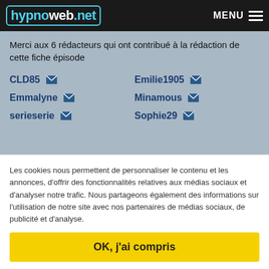hypnoweb.net MENU
Merci aux 6 rédacteurs qui ont contribué à la rédaction de cette fiche épisode
CLD85 ✉
Emilie1905 ✉
Emmalyne ✉
Minamous ✉
serieserie ✉
Sophie29 ✉
Les cookies nous permettent de personnaliser le contenu et les annonces, d'offrir des fonctionnalités relatives aux médias sociaux et d'analyser notre trafic. Nous partageons également des informations sur l'utilisation de notre site avec nos partenaires de médias sociaux, de publicité et d'analyse.
OK, j'ai compris